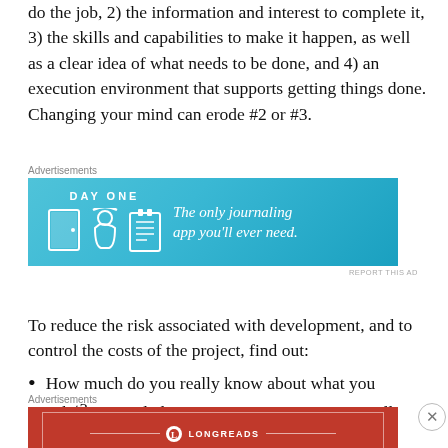do the job, 2) the information and interest to complete it, 3) the skills and capabilities to make it happen, as well as a clear idea of what needs to be done, and 4) an execution environment that supports getting things done. Changing your mind can erode #2 or #3.
[Figure (other): Day One journaling app advertisement with blue gradient background, icons of a door, person with hard hat, and notepad, with text: DAY ONE - The only journaling app you'll ever need.]
To reduce the risk associated with development, and to control the costs of the project, find out:
How much do you really know about what you want?
What essential elements are you pretty sure you'll still
[Figure (other): Longreads advertisement with red background: LONGREADS - The best stories on the web — ours, and everyone else's.]